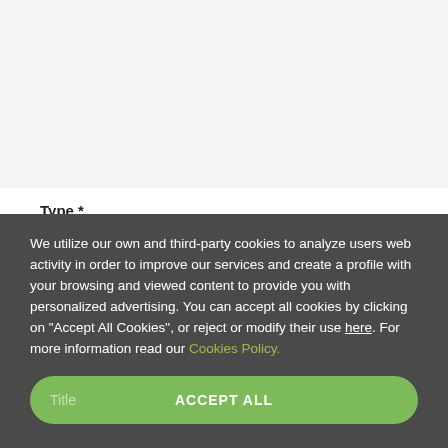Type *
COUPLE
Name *
We utilize our own and third-party cookies to analyze users web activity in order to improve our services and create a profile with your browsing and viewed content to provide you with personalized advertising. You can accept all cookies by clicking on "Accept All Cookies", or reject or modify their use here. For more information read our Cookies Policy.
ACCEPT ALL